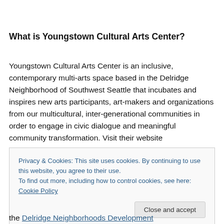What is Youngstown Cultural Arts Center?
Youngstown Cultural Arts Center is an inclusive, contemporary multi-arts space based in the Delridge Neighborhood of Southwest Seattle that incubates and inspires new arts participants, art-makers and organizations from our multicultural, inter-generational communities in order to engage in civic dialogue and meaningful community transformation. Visit their website
Privacy & Cookies: This site uses cookies. By continuing to use this website, you agree to their use.
To find out more, including how to control cookies, see here: Cookie Policy
the Delridge Neighborhoods Development